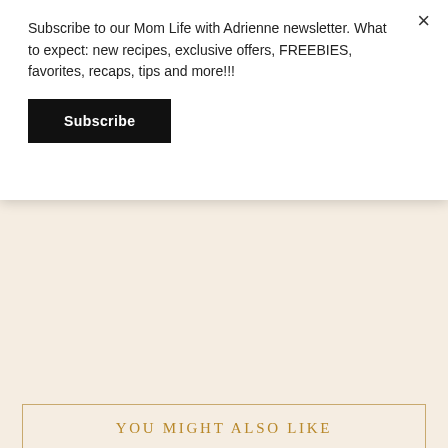Subscribe to our Mom Life with Adrienne newsletter. What to expect: new recipes, exclusive offers, FREEBIES, favorites, recaps, tips and more!!!
Subscribe
YOU MIGHT ALSO LIKE
[Figure (illustration): Circular card with watercolor brushstroke illustration in blue/grey and peach/salmon tones, overlaid with bold text 'Easter 2022']
[Figure (other): Circular hamburger menu button with three horizontal lines]